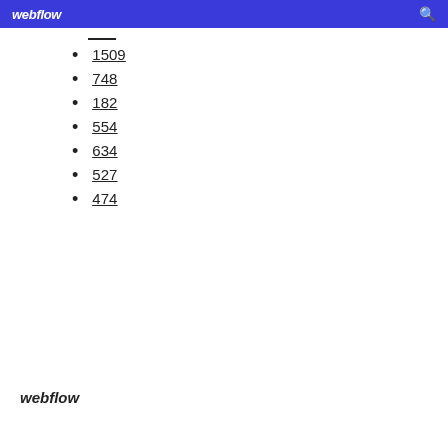webflow
1509
748
182
554
634
527
474
webflow